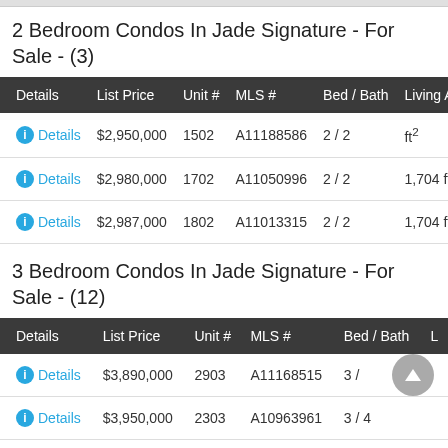2 Bedroom Condos In Jade Signature - For Sale - (3)
| Details | List Price | Unit # | MLS # | Bed / Bath | Living Area |
| --- | --- | --- | --- | --- | --- |
| Details | $2,950,000 | 1502 | A11188586 | 2 / 2 | ft² |
| Details | $2,980,000 | 1702 | A11050996 | 2 / 2 | 1,704 ft |
| Details | $2,987,000 | 1802 | A11013315 | 2 / 2 | 1,704 ft |
3 Bedroom Condos In Jade Signature - For Sale - (12)
| Details | List Price | Unit # | MLS # | Bed / Bath | L |
| --- | --- | --- | --- | --- | --- |
| Details | $3,890,000 | 2903 | A11168515 | 3 / |  |
| Details | $3,950,000 | 2303 | A10963961 | 3 / 4 |  |